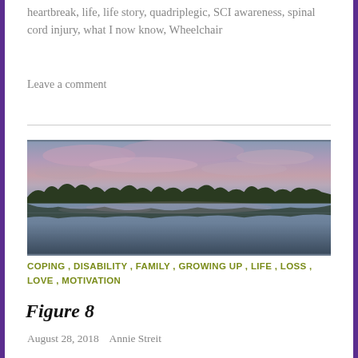heartbreak, life, life story, quadriplegic, SCI awareness, spinal cord injury, what I now know, Wheelchair
Leave a comment
[Figure (photo): A landscape photo of a lake at dusk/dawn with a purple and pink sky reflected in the still water, with a treeline silhouette along the horizon.]
COPING , DISABILITY , FAMILY , GROWING UP , LIFE , LOSS , LOVE , MOTIVATION
Figure 8
August 28, 2018   Annie Streit